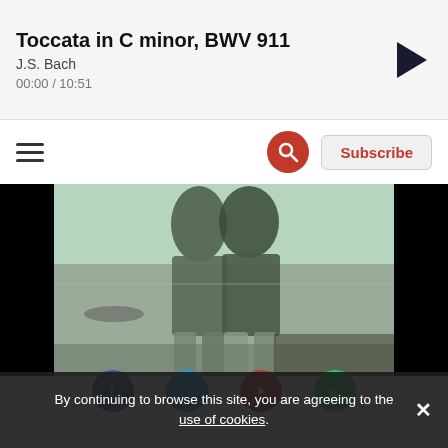Toccata in C minor, BWV 911 — J.S. Bach — 00:00 / 10:51
≡  🔍  Subscribe
[Figure (photo): Black and white vintage photograph of two people standing outdoors near water, shown from the waist down, with greenish tint overlay. Dark bars on left and right sides.]
Social sharing icons: Facebook, Twitter, YouTube, WhatsApp (partially visible)
By continuing to browse this site, you are agreeing to the use of cookies.